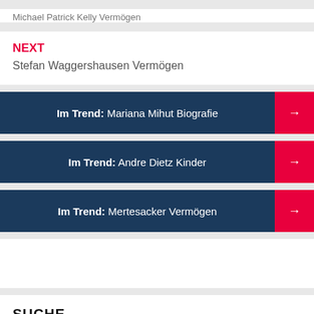Michael Patrick Kelly Vermögen
NEXT
Stefan Waggershausen Vermögen
Im Trend: Mariana Mihut Biografie
Im Trend: Andre Dietz Kinder
Im Trend: Mertesacker Vermögen
SUCHE